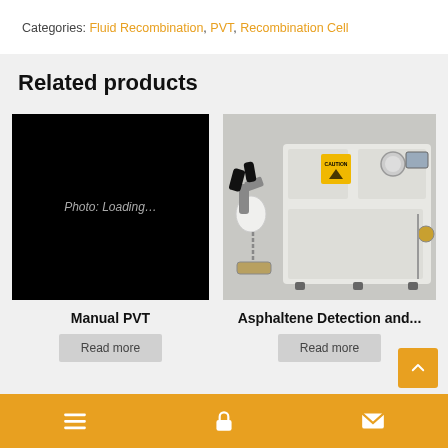Categories: Fluid Recombination, PVT, Recombination Cell
Related products
[Figure (photo): Black placeholder image with text 'Photo: Loading...']
Manual PVT
Read more
[Figure (photo): Photo of Asphaltene Detection laboratory instrument — white metal cabinet with microscope attachment, gauges, and controls]
Asphaltene Detection and...
Read more